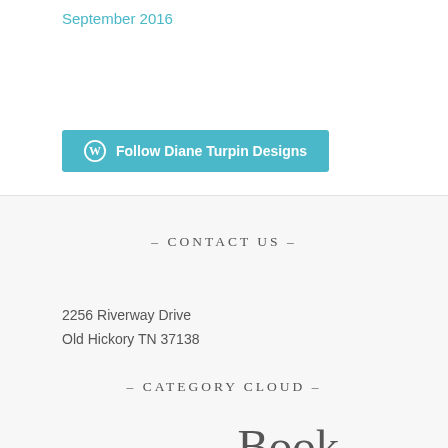September 2016
[Figure (other): WordPress follow button: Follow Diane Turpin Designs]
- CONTACT US -
2256 Riverway Drive
Old Hickory TN 37138
- CATEGORY CLOUD -
Artwork  Bible Journaling  Book Covers